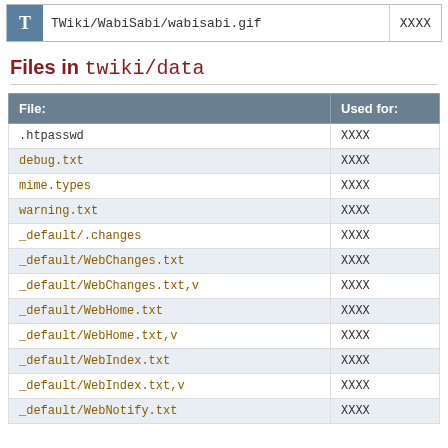TWiki/WabiSabi/wabisabi.gif   XXXX
Files in twiki/data
| File: | Used for: |
| --- | --- |
| .htpasswd | XXXX |
| debug.txt | XXXX |
| mime.types | XXXX |
| warning.txt | XXXX |
| _default/.changes | XXXX |
| _default/WebChanges.txt | XXXX |
| _default/WebChanges.txt,v | XXXX |
| _default/WebHome.txt | XXXX |
| _default/WebHome.txt,v | XXXX |
| _default/WebIndex.txt | XXXX |
| _default/WebIndex.txt,v | XXXX |
| _default/WebNotify.txt | XXXX |